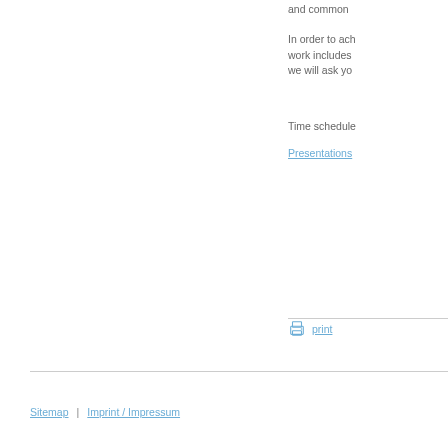and common
In order to ach work includes we will ask yo
Time schedule
Presentations
print
Sitemap | Imprint / Impressum